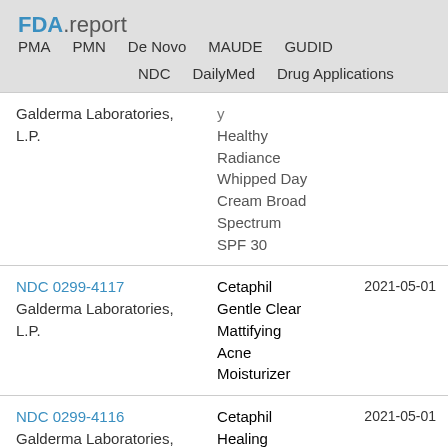FDA.report | PMA | PMN | De Novo | MAUDE | GUDID | NDC | DailyMed | Drug Applications
| Labeler / NDC | Product Name | Date |
| --- | --- | --- |
| Galderma Laboratories, L.P. | Healthy Radiance Whipped Day Cream Broad Spectrum SPF 30 |  |
| NDC 0299-4117
Galderma Laboratories, L.P. | Cetaphil Gentle Clear Mattifying Acne Moisturizer | 2021-05-01 |
| NDC 0299-4116
Galderma Laboratories, L.P. | Cetaphil Healing | 2021-05-01 |